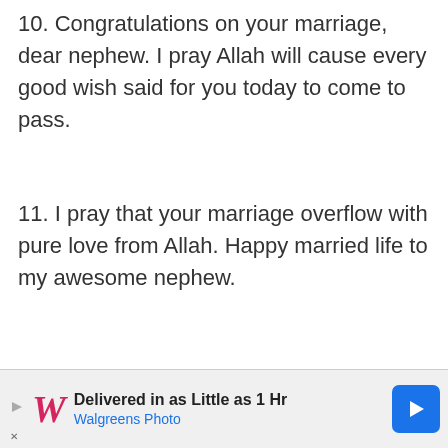10. Congratulations on your marriage, dear nephew. I pray Allah will cause every good wish said for you today to come to pass.
11. I pray that your marriage overflow with pure love from Allah. Happy married life to my awesome nephew.
12. As you say ‘I do’ today, may Allah fill you with all the happiness, love and affection you need to stay happy. Happy married life, nephew.
13. Congratulations on your marriage, sweet
[Figure (other): Walgreens Photo advertisement banner: 'Delivered in as Little as 1 Hr, Walgreens Photo' with logo and navigation arrow]